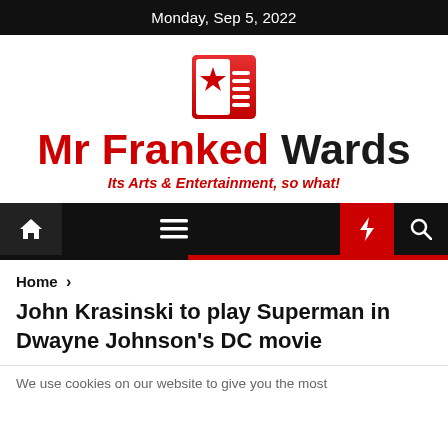Monday, Sep 5, 2022
[Figure (logo): Mr Franked Wards logo icon: red square with white star and red horizontal lines]
Mr Franked Wards
Its Arts & Entertainment, so what!
[Figure (infographic): Navigation bar with home icon, hamburger menu, moon icon, lightning bolt (red background), and search icon]
Home > John Krasinski to play Superman in Dwayne Johnson's DC movie
We use cookies on our website to give you the most